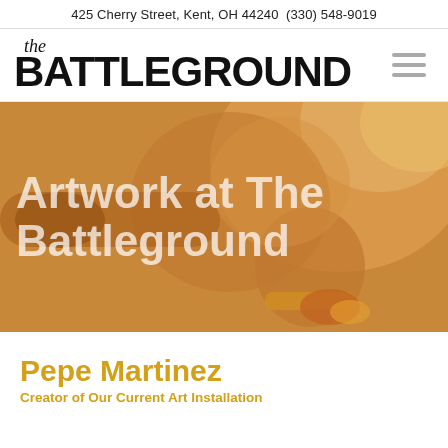425 Cherry Street, Kent, OH 44240  (330) 548-9019
the BATTLEGROUND
[Figure (illustration): Hero banner image showing a painting of a figure (warrior/athlete) rendered in warm orange and amber tones, with the overlaid text 'Artwork at The Battleground' in white semi-transparent lettering]
Pepe Martinez
Creator of Our Current Art Installation